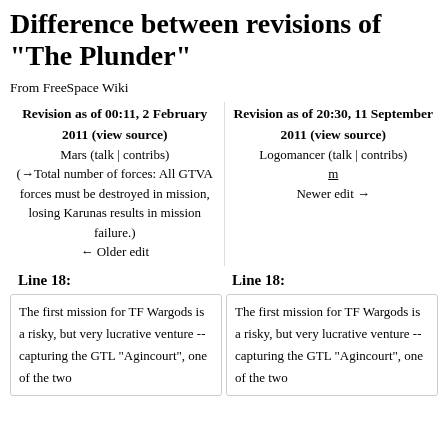Difference between revisions of "The Plunder"
From FreeSpace Wiki
| Revision as of 00:11, 2 February 2011 (view source) | Revision as of 20:30, 11 September 2011 (view source) |
| --- | --- |
| Mars (talk | contribs) | Logomancer (talk | contribs) |
| (→Total number of forces: All GTVA forces must be destroyed in mission, losing Karunas results in mission failure.) | m |
| ← Older edit | Newer edit → |
Line 18:
Line 18:
The first mission for TF Wargods is a risky, but very lucrative venture -- capturing the GTL "Agincourt", one of the two
The first mission for TF Wargods is a risky, but very lucrative venture -- capturing the GTL "Agincourt", one of the two